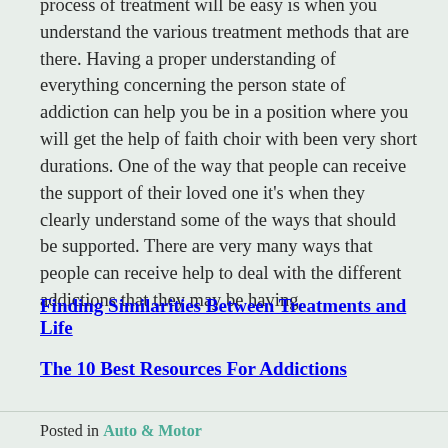process of treatment will be easy is when you understand the various treatment methods that are there. Having a proper understanding of everything concerning the person state of addiction can help you be in a position where you will get the help of faith choir with been very short durations. One of the way that people can receive the support of their loved one it's when they clearly understand some of the ways that should be supported. There are very many ways that people can receive help to deal with the different addictions that they may be having.
Finding Similarities Between Treatments and Life
The 10 Best Resources For Addictions
Posted in Auto & Motor